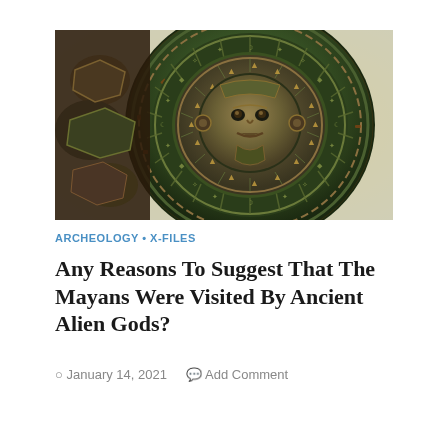[Figure (photo): Circular Mayan/Aztec calendar stone with intricate carvings, face in center, dark green and copper tones, photographed at an angle against a light background]
ARCHEOLOGY • X-FILES
Any Reasons To Suggest That The Mayans Were Visited By Ancient Alien Gods?
January 14, 2021   Add Comment